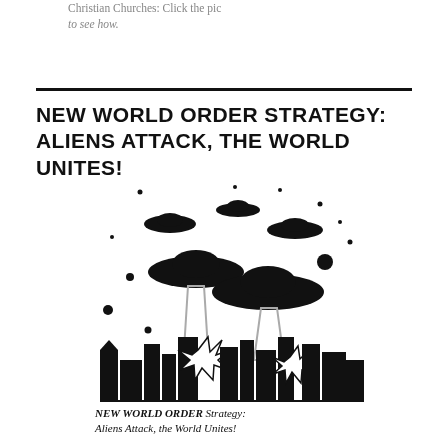Christian Churches: Click the pic to see how.
NEW WORLD ORDER STRATEGY: ALIENS ATTACK, THE WORLD UNITES!
[Figure (illustration): Black and white illustration showing multiple flying saucers hovering over a city skyline, with two UFOs emitting tractor beams hitting buildings, explosions visible, and stars/dots scattered in the sky.]
NEW WORLD ORDER Strategy: Aliens Attack, the World Unites!